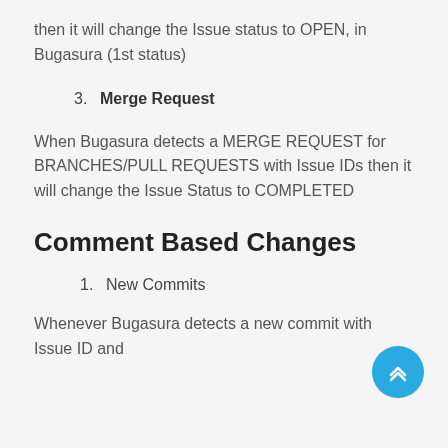then it will change the Issue status to OPEN, in Bugasura (1st status)
3. Merge Request
When Bugasura detects a MERGE REQUEST for BRANCHES/PULL REQUESTS with Issue IDs then it will change the Issue Status to COMPLETED
Comment Based Changes
1. New Commits
Whenever Bugasura detects a new commit with Issue ID and